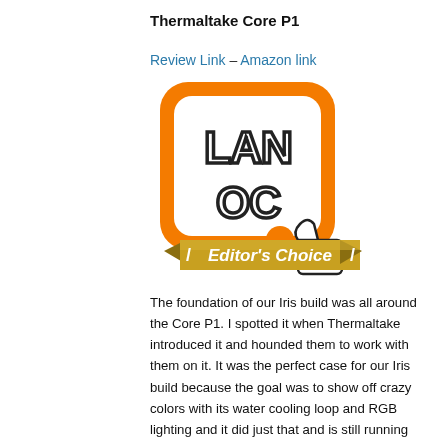Thermaltake Core P1
Review Link – Amazon link
[Figure (logo): LAN OC logo with orange rounded square border, text LAN OC inside, with a thumbs-up hand icon and a gold ribbon banner reading Editor's Choice]
The foundation of our Iris build was all around the Core P1. I spotted it when Thermaltake introduced it and hounded them to work with them on it. It was the perfect case for our Iris build because the goal was to show off crazy colors with its water cooling loop and RGB lighting and it did just that and is still running